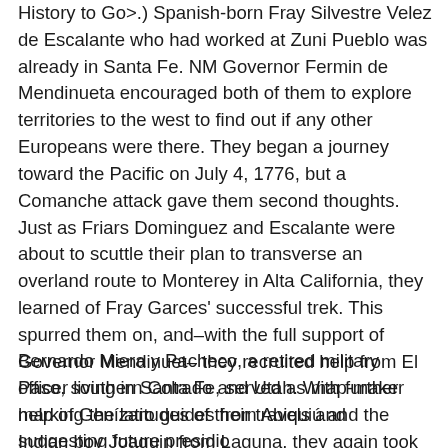History to Go>.) Spanish-born Fray Silvestre Velez de Escalante who had worked at Zuni Pueblo was already in Santa Fe. NM Governor Fermin de Mendinueta encouraged both of them to explore territories to the west to find out if any other Europeans were there. They began a journey toward the Pacific on July 4, 1776, but a Comanche attack gave them second thoughts.   Just as Friars Dominguez and Escalante were about to scuttle their plan to transverse an overland route to Monterey in Alta California, they learned of Fray Garces' successful trek. This spurred them on, and–with the full support of Governor Mendinuet– they recruited help from El Paso, southern Colrado and Utah. With further help of Genízaro guides from Abiquiú and the Indian boy Joaquin from Laguna, they again took up their expedition from New Mexico to California.
Bernardo Miera y Pacheco, a retired military officer living in Santa Fe, served as map-maker marking the latitudes of their travels and suggesting future presidio